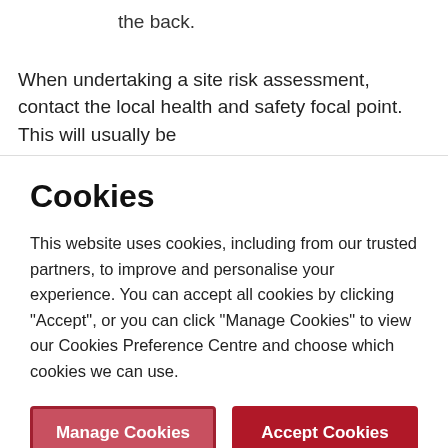the back.
When undertaking a site risk assessment, contact the local health and safety focal point. This will usually be
Cookies
This website uses cookies, including from our trusted partners, to improve and personalise your experience. You can accept all cookies by clicking "Accept", or you can click "Manage Cookies" to view our Cookies Preference Centre and choose which cookies we can use.
Manage Cookies
Accept Cookies